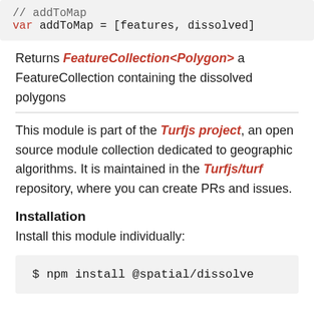// addToMap
var addToMap = [features, dissolved]
Returns FeatureCollection<Polygon> a FeatureCollection containing the dissolved polygons
This module is part of the Turfjs project, an open source module collection dedicated to geographic algorithms. It is maintained in the Turfjs/turf repository, where you can create PRs and issues.
Installation
Install this module individually:
$ npm install @spatial/dissolve